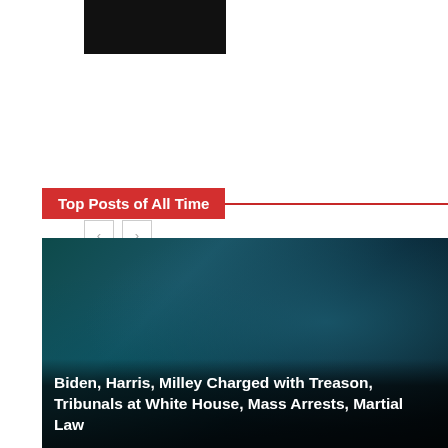[Figure (photo): Dark/black thumbnail image at top left]
[Figure (other): Navigation previous/next buttons with left and right arrows]
Top Posts of All Time
[Figure (photo): Manipulated/digitally altered image showing a figure holding two babies against a smoky blue background. Overlaid text reads: Biden, Harris, Milley Charged with Treason, Tribunals at White House, Mass Arrests, Martial Law]
Biden, Harris, Milley Charged with Treason, Tribunals at White House, Mass Arrests, Martial Law